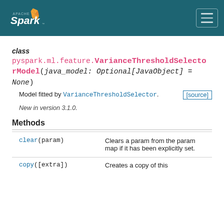Apache Spark
class
pyspark.ml.feature.VarianceThresholdSelectorModel(java_model: Optional[JavaObject] = None)
Model fitted by VarianceThresholdSelector. [source]
New in version 3.1.0.
Methods
|  |  |
| --- | --- |
| clear(param) | Clears a param from the param map if it has been explicitly set. |
| copy([extra]) | Creates a copy of this |